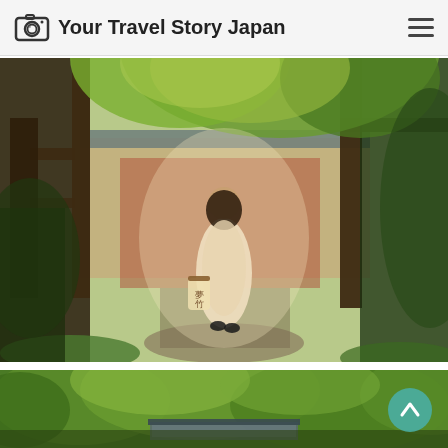Your Travel Story Japan
[Figure (photo): Woman in a floral dress standing in a Japanese garden entrance with wooden gate, lush green trees, moss-covered ground, and a paper lantern, with a traditional building in the background.]
[Figure (photo): Aerial or elevated view of dense green trees and foliage with a traditional Japanese rooftop visible below, partially cropped at bottom of page.]